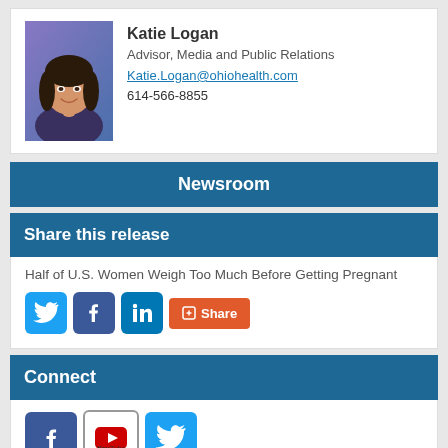[Figure (photo): Headshot photo of Katie Logan, a woman with dark hair, smiling, against a purple/blue background]
Katie Logan
Advisor, Media and Public Relations
Katie.Logan@ohiohealth.com
614-566-8855
Newsroom
Share this release
Half of U.S. Women Weigh Too Much Before Getting Pregnant
[Figure (infographic): Social share buttons: Twitter, Facebook, LinkedIn icons and a Share button]
Connect
[Figure (infographic): Social connect icons: Facebook, YouTube, Twitter]